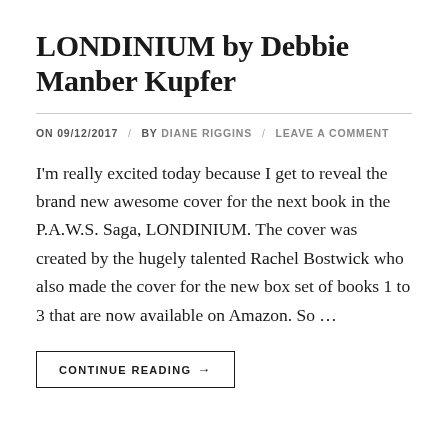LONDINIUM by Debbie Manber Kupfer
ON 09/12/2017  /  BY DIANE RIGGINS  /  LEAVE A COMMENT
I'm really excited today because I get to reveal the brand new awesome cover for the next book in the P.A.W.S. Saga, LONDINIUM. The cover was created by the hugely talented Rachel Bostwick who also made the cover for the new box set of books 1 to 3 that are now available on Amazon. So …
CONTINUE READING →